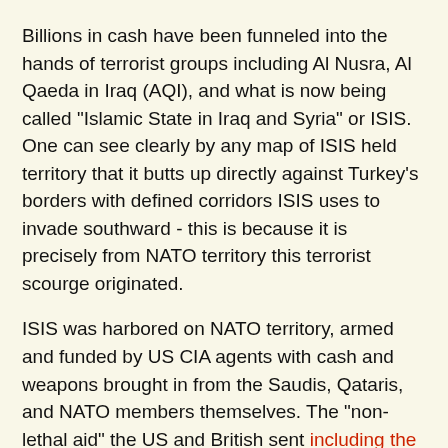Billions in cash have been funneled into the hands of terrorist groups including Al Nusra, Al Qaeda in Iraq (AQI), and what is now being called "Islamic State in Iraq and Syria" or ISIS. One can see clearly by any map of ISIS held territory that it butts up directly against Turkey's borders with defined corridors ISIS uses to invade southward - this is because it is precisely from NATO territory this terrorist scourge originated.
ISIS was harbored on NATO territory, armed and funded by US CIA agents with cash and weapons brought in from the Saudis, Qataris, and NATO members themselves. The "non-lethal aid" the US and British sent including the vehicles we now see ISIS driving around in.
They didn't "take" this gear from "moderates." There were never any moderates to begin with. The deadly sectarian genocide we now see unfolding was long ago predicted by those in the Pentagon - current and former officials - interviewed in 2007 by Pulitzer Prize-winning veteran journalist Seymour Hersh. Hersh's 9-page 2007 report, "The